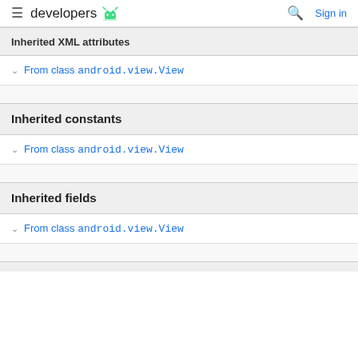developers  Sign in
Inherited XML attributes
From class android.view.View
Inherited constants
From class android.view.View
Inherited fields
From class android.view.View